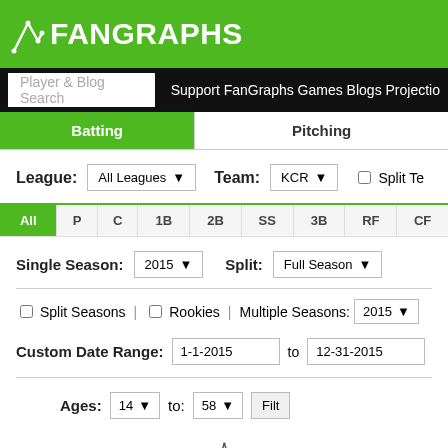FanGraphs
Player & Blog Search  Support FanGraphs Games Blogs Projectio...
Batting | Pitching
League: All Leagues   Team: KCR   Split Te...
All  P  C  1B  2B  SS  3B  RF  CF
Single Season: 2015   Split: Full Season
Split Seasons | Rookies | Multiple Seasons: 2015
Custom Date Range: 1-1-2015 to 12-31-2015
Ages: 14 to: 58  Filt...